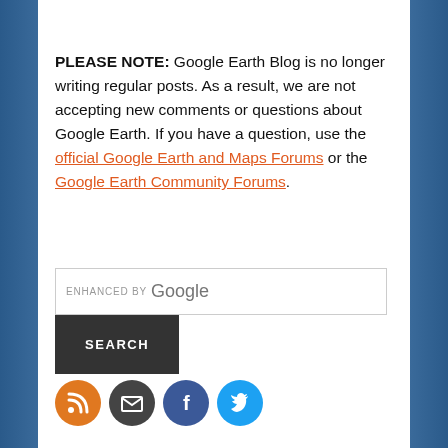PLEASE NOTE: Google Earth Blog is no longer writing regular posts. As a result, we are not accepting new comments or questions about Google Earth. If you have a question, use the official Google Earth and Maps Forums or the Google Earth Community Forums.
[Figure (screenshot): Search box with 'ENHANCED BY Google' label and a dark SEARCH button below]
[Figure (infographic): Four social media icon circles: RSS (orange), Email (dark grey), Facebook (dark blue), Twitter (light blue)]